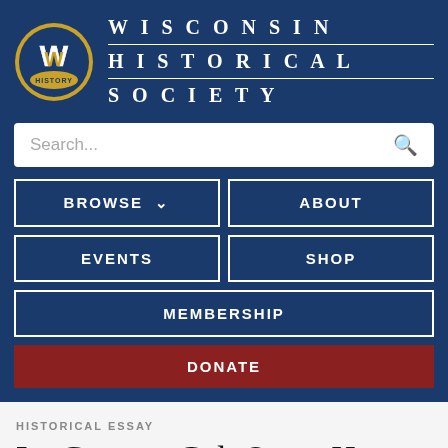[Figure (logo): Wisconsin Historical Society logo - circular badge with W and HISTORY text]
WISCONSIN HISTORICAL SOCIETY
Search...
BROWSE ∨
ABOUT
EVENTS
SHOP
MEMBERSHIP
DONATE
HISTORICAL ESSAY
La Grange, Col. Oscar H., 1837-1915